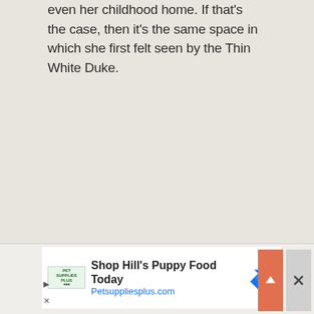even her childhood home. If that's the case, then it's the same space in which she first felt seen by the Thin White Duke.
[Figure (infographic): Advertisement banner for Pet Supplies Plus showing 'Shop Hill's Puppy Food Today' with Petsuppliesplus.com URL, a green Pet Supplies Plus logo, a blue diamond arrow icon, an orange up-arrow button, and a close X button.]